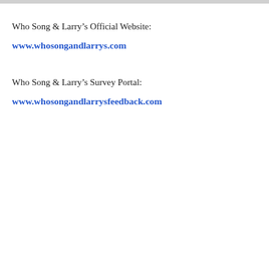Who Song & Larry’s Official Website:
www.whosongandlarrys.com
Who Song & Larry’s Survey Portal:
www.whosongandlarrysfeedback.com